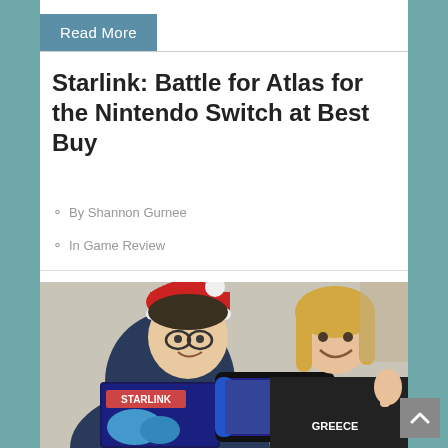Read More
Starlink: Battle for Atlas for the Nintendo Switch at Best Buy
By Shannon Gurnee
In Game Review
[Figure (photo): Two children smiling and holding a Starlink: Battle for Atlas game box and a Nintendo Switch. The boy on the left wears glasses and a Santa hat; the girl on the right wears a GREECE t-shirt and gives a thumbs up.]